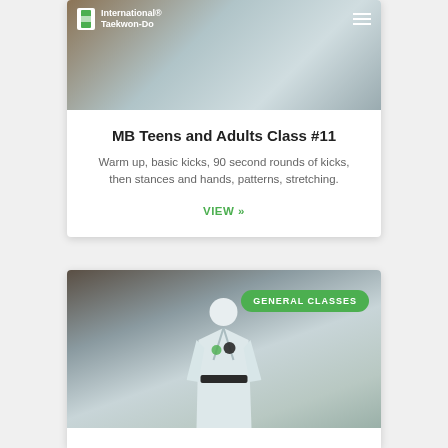International Taekwon-Do
MB Teens and Adults Class #11
Warm up, basic kicks, 90 second rounds of kicks, then stances and hands, patterns, stretching.
VIEW »
[Figure (photo): Person in white Taekwondo dobok (uniform) with black belt, standing in front of a decorative background. A green badge labelled GENERAL CLASSES is overlaid on the top right of the image.]